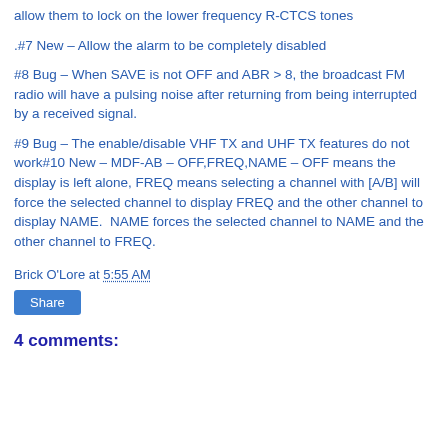allow them to lock on the lower frequency R-CTCS tones
.#7 New – Allow the alarm to be completely disabled
#8 Bug – When SAVE is not OFF and ABR > 8, the broadcast FM radio will have a pulsing noise after returning from being interrupted by a received signal.
#9 Bug – The enable/disable VHF TX and UHF TX features do not work#10 New – MDF-AB – OFF,FREQ,NAME – OFF means the display is left alone, FREQ means selecting a channel with [A/B] will force the selected channel to display FREQ and the other channel to display NAME.  NAME forces the selected channel to NAME and the other channel to FREQ.
Brick O'Lore at 5:55 AM
Share
4 comments: